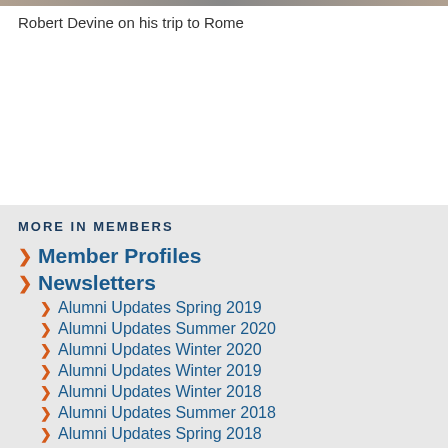[Figure (photo): Partial photo strip at the top of the page showing Robert Devine on his trip to Rome]
Robert Devine on his trip to Rome
MORE IN MEMBERS
Member Profiles
Newsletters
Alumni Updates Spring 2019
Alumni Updates Summer 2020
Alumni Updates Winter 2020
Alumni Updates Winter 2019
Alumni Updates Winter 2018
Alumni Updates Summer 2018
Alumni Updates Spring 2018